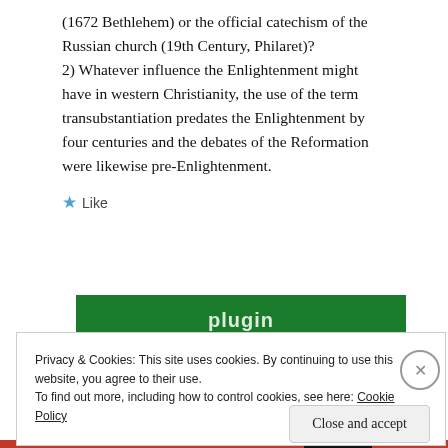(1672 Bethlehem) or the official catechism of the Russian church (19th Century, Philaret)? 2) Whatever influence the Enlightenment might have in western Christianity, the use of the term transubstantiation predates the Enlightenment by four centuries and the debates of the Reformation were likewise pre-Enlightenment.
[Figure (other): A 'Like' button with a blue star icon]
[Figure (other): A green banner with partially visible white bold text, possibly a plugin or advertisement banner]
Privacy & Cookies: This site uses cookies. By continuing to use this website, you agree to their use.
To find out more, including how to control cookies, see here: Cookie Policy
[Figure (other): Close and accept button for the cookie consent overlay]